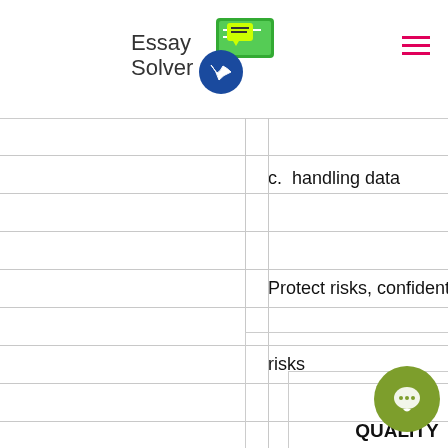Essay Solver
c.  handling data
Protect risks, confidentiality, time frame, etc    e.
risks
All research must address this. Do not assume there are no risks. There is always something, emotionally, psychologically, physical.
| QUALITY |
| --- |